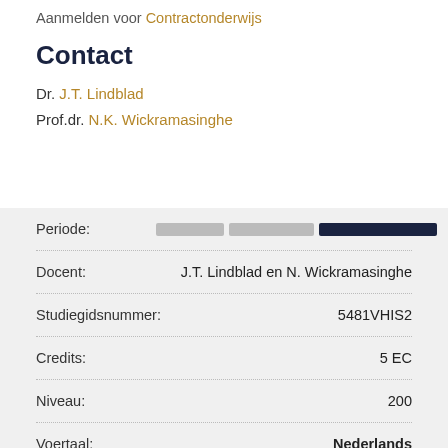Aanmelden voor Contractonderwijs
Contact
Dr. J.T. Lindblad
Prof.dr. N.K. Wickramasinghe
| Label | Value |
| --- | --- |
| Periode: |  |
| Docent: | J.T. Lindblad en N. Wickramasinghe |
| Studiegidsnummer: | 5481VHIS2 |
| Credits: | 5 EC |
| Niveau: | 200 |
| Voertaal: | Nederlands |